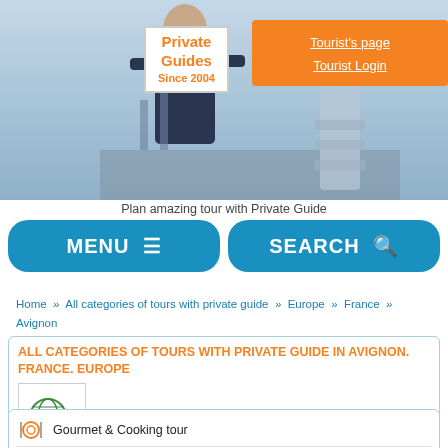[Figure (screenshot): Website header with person holding a sign reading 'Private Guides Since 2004', city background with famous landmarks, orange tourist login button top right]
Plan amazing tour with Private Guide
MENU ≡
SEARCH 🔍
Home » All categories of tours with private guide » Europe » France » Avignon
ALL CATEGORIES OF TOURS WITH PRIVATE GUIDE IN AVIGNON. FRANCE. EUROPE
[Figure (illustration): Globe with magnifying glass search icon]
SELECT TOUR
Gourmet & Cooking tour
Private tour